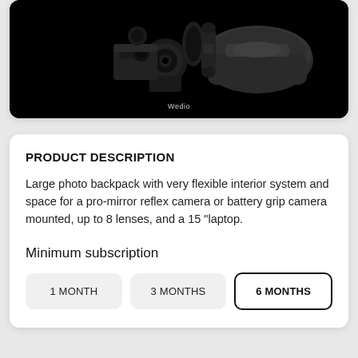[Figure (photo): Camera equipment including DSLR cameras, lenses, and a camera bag on a black background with 'Wedio' watermark]
PRODUCT DESCRIPTION
Large photo backpack with very flexible interior system and space for a pro-mirror reflex camera or battery grip camera mounted, up to 8 lenses, and a 15 "laptop.
Minimum subscription
1 MONTH
3 MONTHS
6 MONTHS